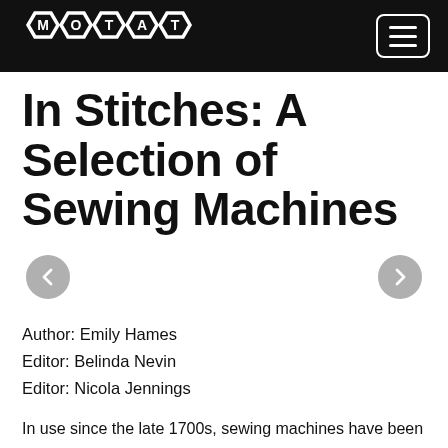MOTAT
In Stitches: A Selection of Sewing Machines
[Figure (other): Navigation carousel arrows: left arrow and right arrow circles for image slideshow]
Author: Emily Hames
Editor: Belinda Nevin
Editor: Nicola Jennings
In use since the late 1700s, sewing machines have been